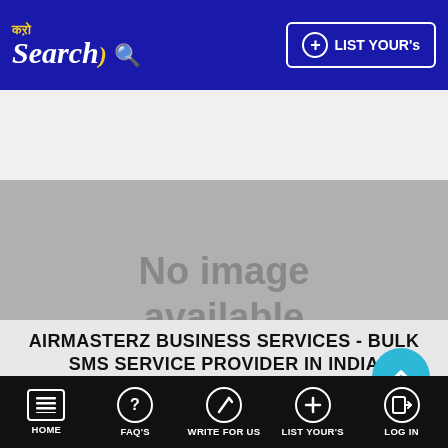Karo Search — LIST YOUR's
[Figure (other): No image available placeholder — grey rectangle with text]
AIRMASTERZ BUSINESS SERVICES - BULK SMS SERVICE PROVIDER IN INDIA
JAIPUR, MANAGLAM ELECTRONIC MA ...
SERVICE PROVIDER
TELECOM
BULK SMS PROVIDER
HOME | FAQ's | WRITE FOR US | LIST YOUR's | LOG IN